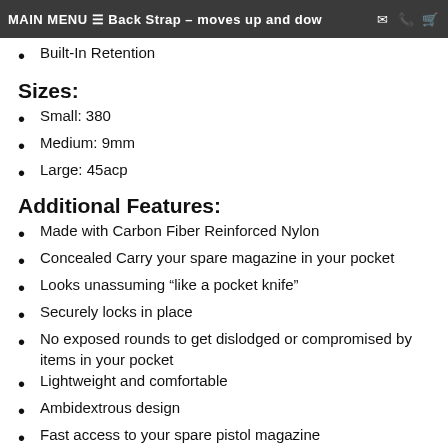MAIN MENU ≡ Back Strap – moves up and dow… ✉ 📞 🛒
Built-In Retention
Sizes:
Small: 380
Medium: 9mm
Large: 45acp
Additional Features:
Made with Carbon Fiber Reinforced Nylon
Concealed Carry your spare magazine in your pocket
Looks unassuming “like a pocket knife”
Securely locks in place
No exposed rounds to get dislodged or compromised by items in your pocket
Lightweight and comfortable
Ambidextrous design
Fast access to your spare pistol magazine
Spare magazine located in the same place every time